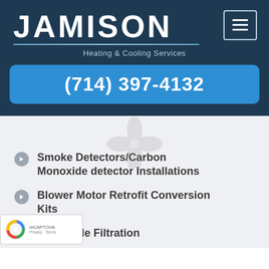[Figure (logo): Jamison Heating & Cooling Services logo with large white JAMISON text, decorative underline, and tagline]
(714) 397-4132
[Figure (illustration): Faint gray fan/propeller watermark icon in background]
Smoke Detectors/Carbon Monoxide detector Installations
Blower Motor Retrofit Conversion Kits
Top Grade Filtration